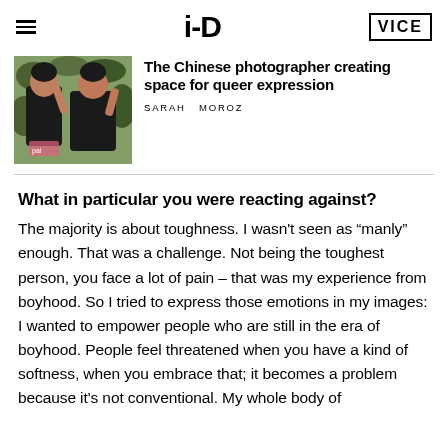i-D | VICE
[Figure (photo): Two young women standing outdoors, one in a black tank top, both posing with hands raised near their faces, with green foliage in background]
The Chinese photographer creating space for queer expression
SARAH MOROZ
What in particular you were reacting against?
The majority is about toughness. I wasn't seen as "manly" enough. That was a challenge. Not being the toughest person, you face a lot of pain – that was my experience from boyhood. So I tried to express those emotions in my images: I wanted to empower people who are still in the era of boyhood. People feel threatened when you have a kind of softness, when you embrace that; it becomes a problem because it's not conventional. My whole body of